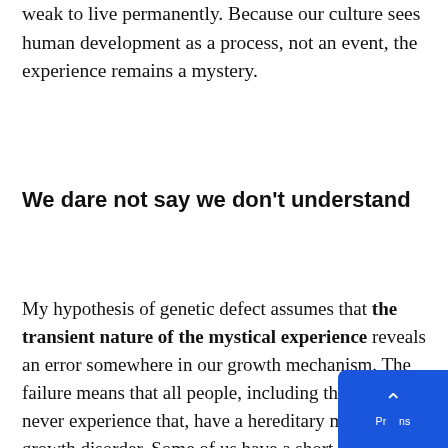weak to live permanently. Because our culture sees human development as a process, not an event, the experience remains a mystery.
We dare not say we don't understand
My hypothesis of genetic defect assumes that the transient nature of the mystical experience reveals an error somewhere in our growth mechanism. The failure means that all people, including those who never experience that, have a hereditary mental growth disorder. Some of us have a short experience; most recognise nothing. Experiencing signifies nothing supernatural, but that we detach ourselves from the